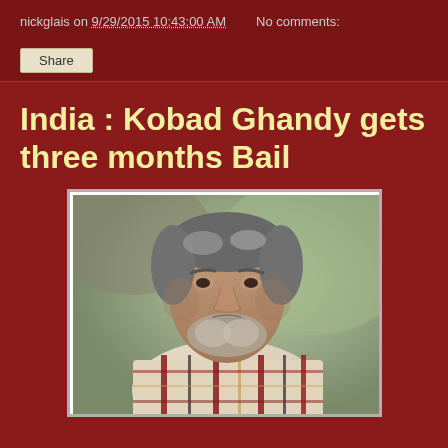nickglais on 9/29/2015 10:43:00 AM   No comments:
India : Kobad Ghandy gets three months Bail
[Figure (photo): Portrait photo of Kobad Ghandy, an older man with gray hair and beard, wearing a plaid shirt with red, white, and dark stripes, photographed against a blurred outdoor background.]